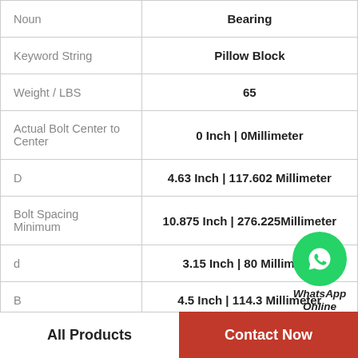| Property | Value |
| --- | --- |
| Noun | Bearing |
| Keyword String | Pillow Block |
| Weight / LBS | 65 |
| Actual Bolt Center to Center | 0 Inch | 0Millimeter |
| D | 4.63 Inch | 117.602 Millimeter |
| Bolt Spacing Minimum | 10.875 Inch | 276.225Millimeter |
| d | 3.15 Inch | 80 Millimeter |
| B | 4.5 Inch | 114.3 Millimeter |
[Figure (logo): WhatsApp green circle icon with phone handset, labeled WhatsApp Online]
All Products    Contact Now